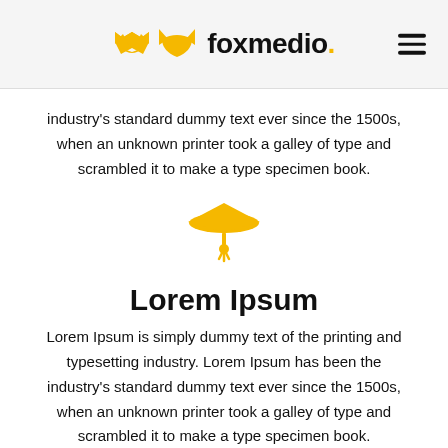foxmedio.
industry's standard dummy text ever since the 1500s, when an unknown printer took a galley of type and scrambled it to make a type specimen book.
[Figure (illustration): Gold/yellow graduation cap icon]
Lorem Ipsum
Lorem Ipsum is simply dummy text of the printing and typesetting industry. Lorem Ipsum has been the industry's standard dummy text ever since the 1500s, when an unknown printer took a galley of type and scrambled it to make a type specimen book.
[Figure (illustration): Gold/yellow rocket icon (partially visible at bottom)]